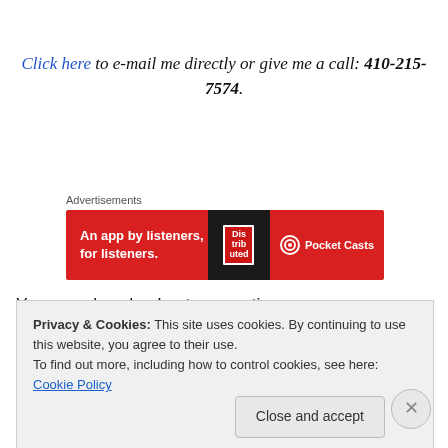Click here to e-mail me directly or give me a call: 410-215-7574.
Advertisements
[Figure (other): Pocket Casts advertisement banner: red background, 'An app by listeners, for listeners.' with stylized phone graphic and Pocket Casts logo.]
You can also checkout my posting on thumbtack.com:
Guitar Lessons that You (or Your Child) Won't Quit
Privacy & Cookies: This site uses cookies. By continuing to use this website, you agree to their use.
To find out more, including how to control cookies, see here: Cookie Policy
Close and accept